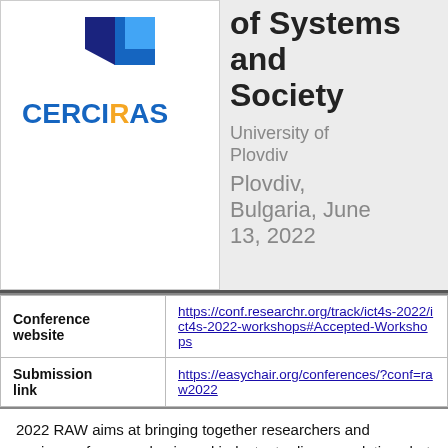[Figure (logo): CERCIRAS logo with geometric blue/yellow shape above the text CERCIRAS in blue and yellow letters]
of Systems and Society
University of Plovdiv
Plovdiv, Bulgaria, June 13, 2022
| Conference website | https://conf.researchr.org/track/ict4s-2022/ict4s-2022-workshops#Accepted-Workshops |
| Submission link | https://easychair.org/conferences/?conf=raw2022 |
2022 RAW aims at bringing together researchers and engineers from academia and industry to discuss solutions but also open problems in the area of resource aware computing, in all the aspects it entails, starting from classic